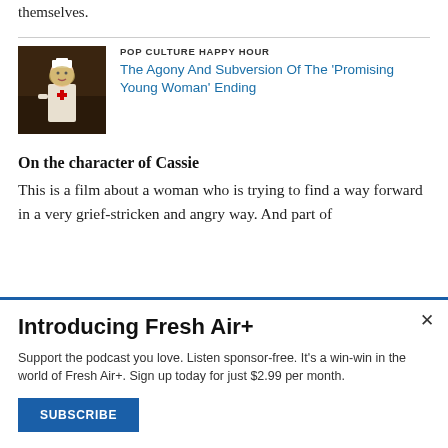themselves.
[Figure (photo): A woman in a nurse costume with a white cap, in a dimly lit scene — still from Promising Young Woman]
POP CULTURE HAPPY HOUR
The Agony And Subversion Of The 'Promising Young Woman' Ending
On the character of Cassie
This is a film about a woman who is trying to find a way forward in a very grief-stricken and angry way. And part of
Introducing Fresh Air+
Support the podcast you love. Listen sponsor-free. It's a win-win in the world of Fresh Air+. Sign up today for just $2.99 per month.
SUBSCRIBE